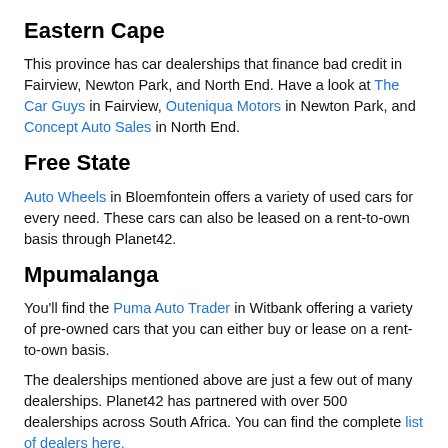Eastern Cape
This province has car dealerships that finance bad credit in Fairview, Newton Park, and North End. Have a look at The Car Guys in Fairview, Outeniqua Motors in Newton Park, and Concept Auto Sales in North End.
Free State
Auto Wheels in Bloemfontein offers a variety of used cars for every need. These cars can also be leased on a rent-to-own basis through Planet42.
Mpumalanga
You'll find the Puma Auto Trader in Witbank offering a variety of pre-owned cars that you can either buy or lease on a rent-to-own basis.
The dealerships mentioned above are just a few out of many dealerships. Planet42 has partnered with over 500 dealerships across South Africa. You can find the complete list of dealers here.
If you still can't find a dealership near you, don't hesitate to get in contact with us and we can help you find a dealer in your area.